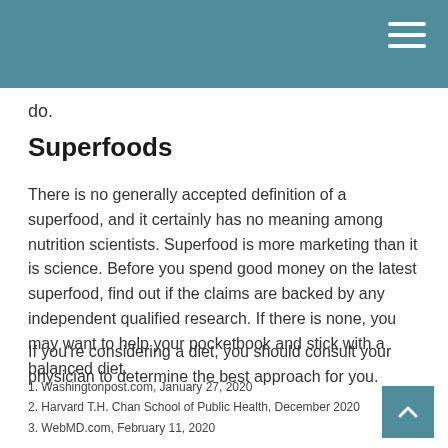do.
Superfoods
There is no generally accepted definition of a superfood, and it certainly has no meaning among nutrition scientists. Superfood is more marketing than it is science. Before you spend good money on the latest superfood, find out if the claims are backed by any independent qualified research. If there is none, you may want to help your pocketbook and stick with a balanced diet.
If you’re considering a diet, you should consult your physician to determine the best approach for you.
1. Washingtonpost.com, January 27, 2020
2. Harvard T.H. Chan School of Public Health, December 2020
3. WebMD.com, February 11, 2020